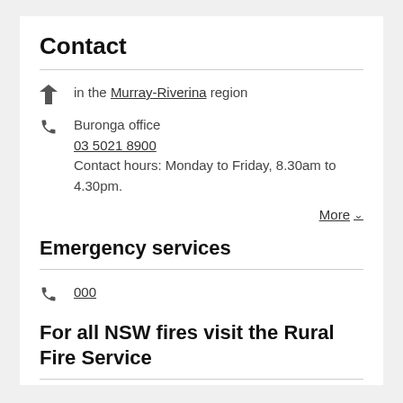Contact
in the Murray-Riverina region
Buronga office
03 5021 8900
Contact hours: Monday to Friday, 8.30am to 4.30pm.
More
Emergency services
000
For all NSW fires visit the Rural Fire Service
For the latest information on wildfires in your area please contact the NSW Rural Fire Service.